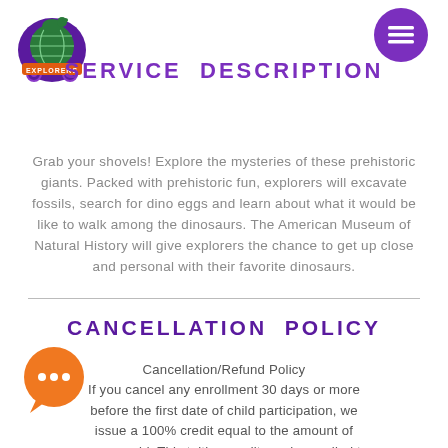[Figure (logo): World Explorers logo: cartoon dinosaur/vehicle with globe, orange text 'EXPLORERS' on purple badge, top-left corner]
[Figure (illustration): Purple circle hamburger menu icon, top-right corner]
SERVICE DESCRIPTION
Grab your shovels! Explore the mysteries of these prehistoric giants. Packed with prehistoric fun, explorers will excavate fossils, search for dino eggs and learn about what it would be like to walk among the dinosaurs. The American Museum of Natural History will give explorers the chance to get up close and personal with their favorite dinosaurs.
CANCELLATION POLICY
Cancellation/Refund Policy
If you cancel any enrollment 30 days or more before the first date of child participation, we issue a 100% credit equal to the amount of money paid. This tuition credit can be applied to any World Explorers service, does not expire
[Figure (illustration): Orange circle chat bubble with three dots, bottom-left corner]